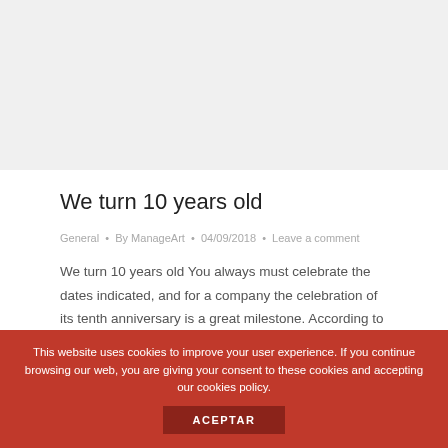[Figure (photo): Gray placeholder image area at the top of the page]
We turn 10 years old
General • By ManageArt • 04/09/2018 • Leave a comment
We turn 10 years old You always must celebrate the dates indicated, and for a company the celebration of its tenth anniversary is a great milestone. According to various sources, 75% of companies do not exceed 2 years of life, and only 10% exceed 5 years after
This website uses cookies to improve your user experience. If you continue browsing our web, you are giving your consent to these cookies and accepting our cookies policy. ACEPTAR